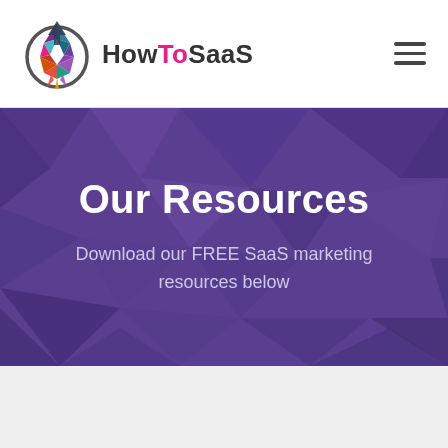[Figure (logo): HowToSaaS logo with colorful geometric rocket/arrow icon and brand name text]
Our Resources
Download our FREE SaaS marketing resources below